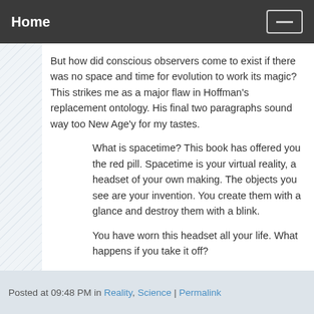Home
But how did conscious observers come to exist if there was no space and time for evolution to work its magic? This strikes me as a major flaw in Hoffman's replacement ontology. His final two paragraphs sound way too New Age'y for my tastes.
What is spacetime? This book has offered you the red pill. Spacetime is your virtual reality, a headset of your own making. The objects you see are your invention. You create them with a glance and destroy them with a blink.
You have worn this headset all your life. What happens if you take it off?
That said, I still hugely enjoyed his book. Again, it seems much more right than wrong. Check out his TED talk, and I think you'll agree.
Posted at 09:48 PM in Reality, Science | Permalink